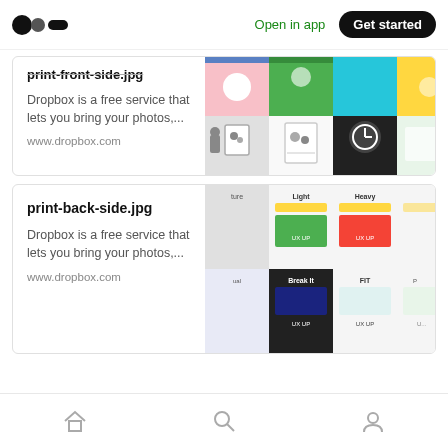Open in app | Get started
print-front-side.jpg
Dropbox is a free service that lets you bring your photos,...
www.dropbox.com
[Figure (screenshot): Colorful grid of app screenshots showing mobile UI designs with pink, green, teal, yellow panels]
print-back-side.jpg
Dropbox is a free service that lets you bring your photos,...
www.dropbox.com
[Figure (screenshot): Grid of app screenshots showing UX design cards with Light, Heavy, Break It, FIT labels on yellow, green, red panels]
Home | Search | Profile